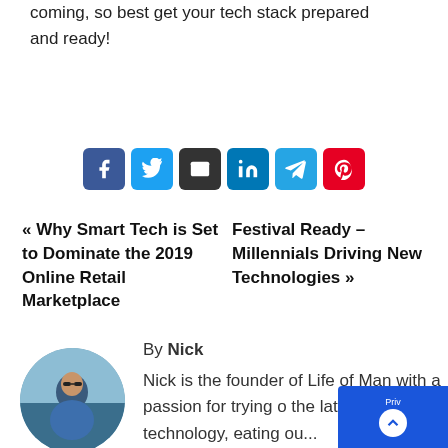coming, so best get your tech stack prepared and ready!
[Figure (other): Social share buttons: Facebook, Twitter, Email, LinkedIn, Telegram, Pinterest]
« Why Smart Tech is Set to Dominate the 2019 Online Retail Marketplace
Festival Ready – Millennials Driving New Technologies »
By Nick
[Figure (photo): Circular profile photo of Nick, a man wearing sunglasses and a blue t-shirt outdoors near water]
Nick is the founder of Life of Man with a passion for trying out the latest technology, eating ou...